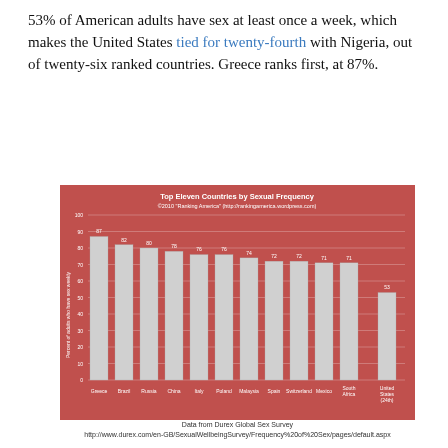53% of American adults have sex at least once a week, which makes the United States tied for twenty-fourth with Nigeria, out of twenty-six ranked countries. Greece ranks first, at 87%.
[Figure (bar-chart): Top Eleven Countries by Sexual Frequency]
Data from Durex Global Sex Survey
http://www.durex.com/en-GB/SexualWellbeingSurvey/Frequency%20of%20Sex/pages/default.aspx